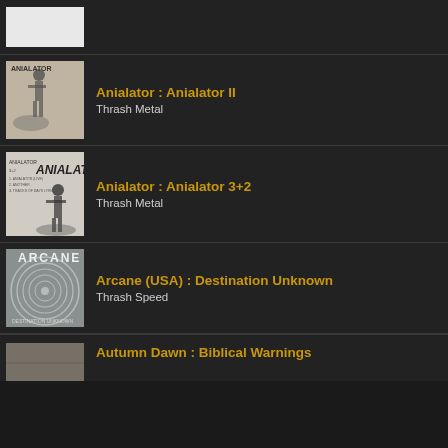[Figure (illustration): Partial white album cover at the top, cropped]
Anialator : Anialator II — Thrash Metal
Anialator : Anialator 3+2 — Thrash Metal
Arcane (USA) : Destination Unknown — Thrash Speed
Autumn Dawn : Biblical Warnings